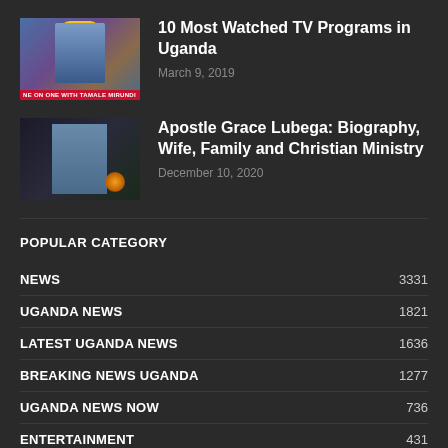[Figure (photo): TV show thumbnail showing a person with a yellow hat on a talk show set, with red banner reading 'NE ON ONE WITH TAMALE MIRUNDI']
10 Most Watched TV Programs in Uganda
March 9, 2019
[Figure (photo): Photo of Apostle Grace Lubega speaking at a podium with a microphone, wearing a suit, with orange glow in background]
Apostle Grace Lubega: Biography, Wife, Family and Christian Ministry
December 10, 2020
POPULAR CATEGORY
NEWS 3331
UGANDA NEWS 1821
LATEST UGANDA NEWS 1636
BREAKING NEWS UGANDA 1277
UGANDA NEWS NOW 736
ENTERTAINMENT 431